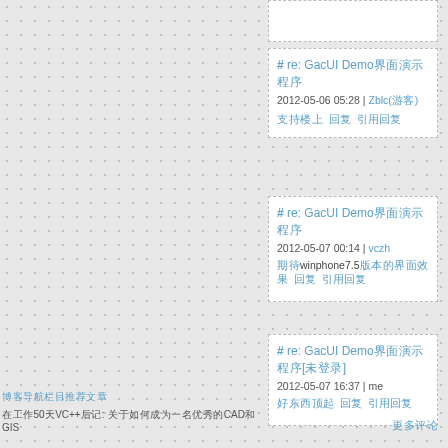[partial card top]
# re: GacUI Demo界面演示程序
2012-05-06 05:28 | Zblc(游客)
支持楼上  回复  引用回复
# re: GacUI Demo界面演示程序
2012-05-07 00:14 | vczh
期待winphone7.5版本的界面效果  回复  引用回复
# re: GacUI Demo界面演示程序[未登录]
2012-05-07 16:37 | me
好东西顶起  回复  引用回复
更多评论
博客导航栏目推荐文章
在工作50天后VC++后记: 关于如何成为一名优秀的CAD和GIS